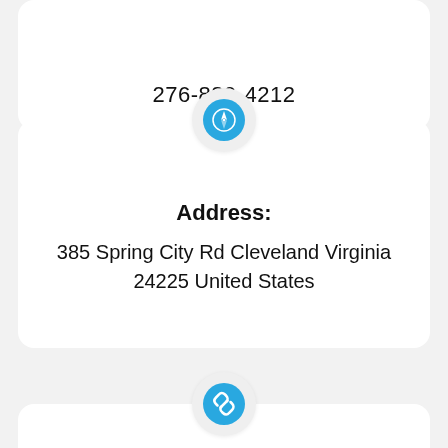276-889-4212
Address:
385 Spring City Rd Cleveland Virginia 24225 United States
Website